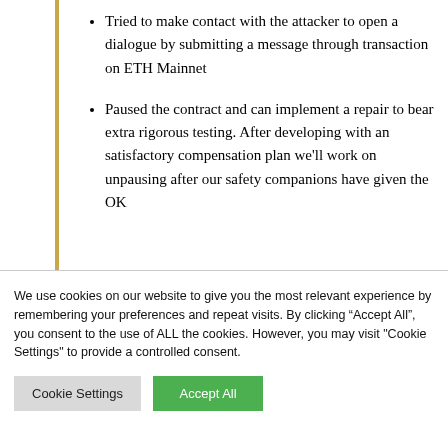Tried to make contact with the attacker to open a dialogue by submitting a message through transaction on ETH Mainnet
Paused the contract and can implement a repair to bear extra rigorous testing. After developing with an satisfactory compensation plan we'll work on unpausing after our safety companions have given the OK
We use cookies on our website to give you the most relevant experience by remembering your preferences and repeat visits. By clicking “Accept All”, you consent to the use of ALL the cookies. However, you may visit "Cookie Settings" to provide a controlled consent.